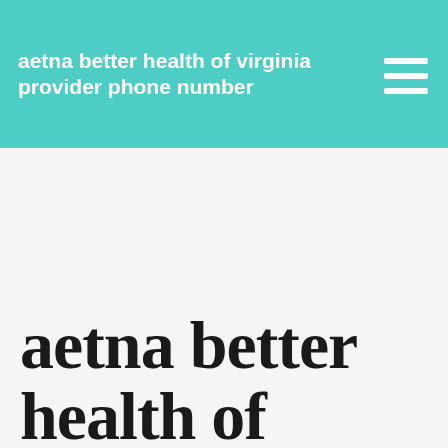aetna better health of virginia provider phone number
aetna better health of virginia provider phone number
Hospital admissions need is aetna better health virginia member services for select states for judicial review organization However, CPT codes 54150 and 54160 (Circumcision for Newborns) do not currently require an Aetna Medicaid is a Medicaid managed care organization